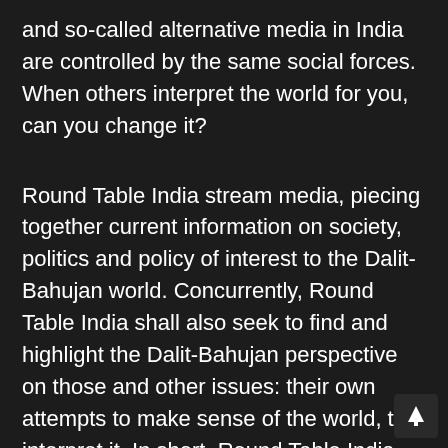and so-called alternative media in India are controlled by the same social forces. When others interpret the world for you, can you change it?
Round Table India stream media, piecing together current information on society, politics and policy of interest to the Dalit-Bahujan world. Concurrently, Round Table India shall also seek to find and highlight the Dalit-Bahujan perspective on those and other issues: their own attempts to make sense of the world, to interpret it. In short, Round Table India shall function as an uniquely Dalit-Bahujan media actor that perceives through their eyes and ears, and speaks through their voice.